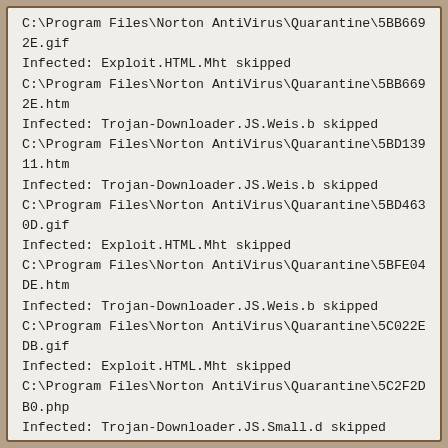C:\Program Files\Norton AntiVirus\Quarantine\5BB6692E.gif
Infected: Exploit.HTML.Mht skipped
C:\Program Files\Norton AntiVirus\Quarantine\5BB6692E.htm
Infected: Trojan-Downloader.JS.Weis.b skipped
C:\Program Files\Norton AntiVirus\Quarantine\5BD13911.htm
Infected: Trojan-Downloader.JS.Weis.b skipped
C:\Program Files\Norton AntiVirus\Quarantine\5BD4630D.gif
Infected: Exploit.HTML.Mht skipped
C:\Program Files\Norton AntiVirus\Quarantine\5BFE04DE.htm
Infected: Trojan-Downloader.JS.Weis.b skipped
C:\Program Files\Norton AntiVirus\Quarantine\5C022EDB.gif
Infected: Exploit.HTML.Mht skipped
C:\Program Files\Norton AntiVirus\Quarantine\5C2F2DB0.php
Infected: Trojan-Downloader.JS.Small.d skipped
C:\Program Files\Norton AntiVirus\Quarantine\5C364EA1.htm
Infected: Trojan-Downloader.JS.Weis.b skipped
C:\Program Files\Norton AntiVirus\Quarantine\5C876F16.htm
Suspicious: Exploit.HTML.Mht skipped
C:\Program Files\Norton AntiVirus\Quarantine\5CD505B3.htm
Infected: Trojan-Downloader.JS.Small.d skipped
C:\Program Files\Norton AntiVirus\Quarantine\5CF04322/GetAccess.class Infected: Trojan.Java.ClassLoader.c skipped